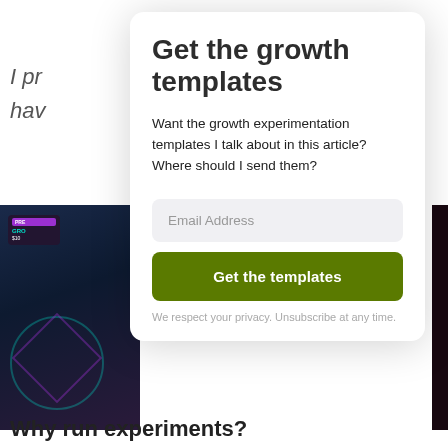I pr
hav
[Figure (photo): Partial background gaming/tech themed image visible behind modal on left side]
Get the growth templates
Want the growth experimentation templates I talk about in this article? Where should I send them?
Email Address
Get the templates
We respect your privacy. Unsubscribe at any time.
Why run experiments?